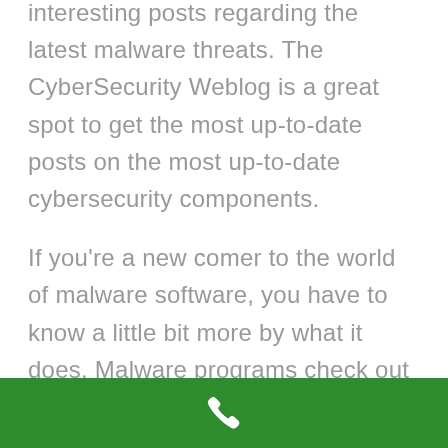interesting posts regarding the latest malware threats. The CyberSecurity Weblog is a great spot to get the most up-to-date posts on the most up-to-date cybersecurity components.
If you're a new comer to the world of malware software, you have to know a little bit more by what it does. Malware programs check out your computer meant for threats and remove them before they can affect your information. Trojans is an infection that can destruction your
[Figure (illustration): Green footer bar with a white phone/call icon in the center]